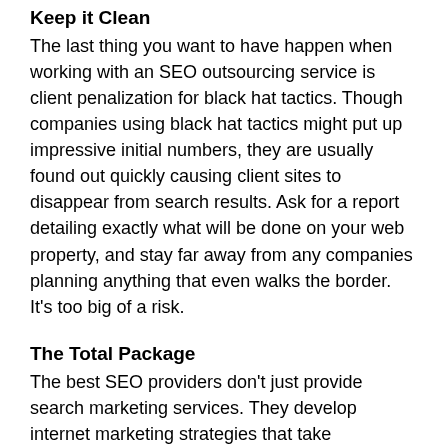Keep it Clean
The last thing you want to have happen when working with an SEO outsourcing service is client penalization for black hat tactics. Though companies using black hat tactics might put up impressive initial numbers, they are usually found out quickly causing client sites to disappear from search results. Ask for a report detailing exactly what will be done on your web property, and stay far away from any companies planning anything that even walks the border. It's too big of a risk.
The Total Package
The best SEO providers don’t just provide search marketing services. They develop internet marketing strategies that take advantage of other